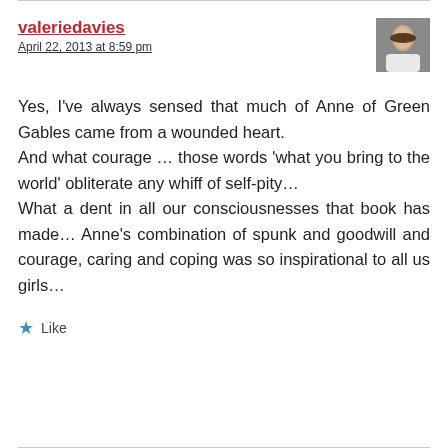valeriedavies
April 22, 2013 at 8:59 pm
[Figure (photo): Small avatar photo of a person in white top, cropped to face/shoulders]
Yes, I’ve always sensed that much of Anne of Green Gables came from a wounded heart.
And what courage … those words ‘what you bring to the world’ obliterate any whiff of self-pity…
What a dent in all our consciousnesses that book has made… Anne’s combination of spunk and goodwill and courage, caring and coping was so inspirational to all us girls…
Like